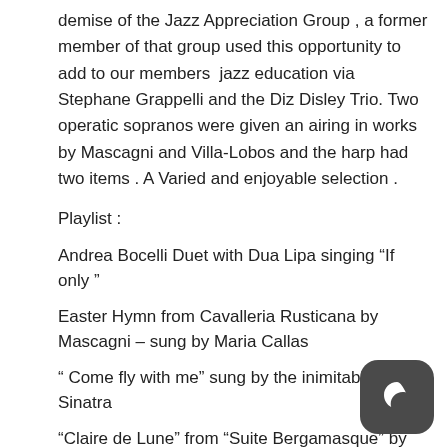demise of the Jazz Appreciation Group , a former member of that group used this opportunity to add to our members jazz education via Stephane Grappelli and the Diz Disley Trio. Two operatic sopranos were given an airing in works by Mascagni and Villa-Lobos and the harp had two items . A Varied and enjoyable selection .
Playlist :
Andrea Bocelli Duet with Dua Lipa singing “If only ”
Easter Hymn from Cavalleria Rusticana by Mascagni – sung by Maria Callas
“ Come fly with me” sung by the inimitable Frank Sinatra
“Claire de Lune” from “Suite Bergamasque” by Debussy played by Dame Moura Lympany (1988 recording) (piano)
“ Lover come back to me” played by Stephane Grappelli and the Diz Disley Trio (1975)